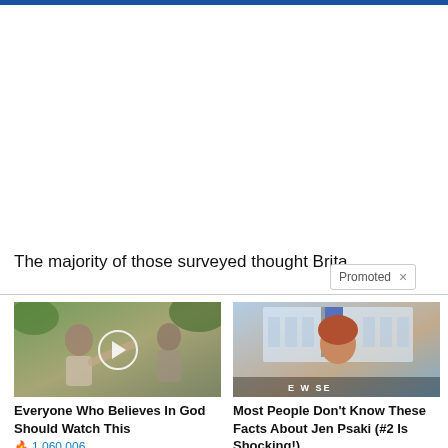The majority of those surveyed thought Britain should leave the EU
Promoted ×
[Figure (photo): Video thumbnail of Kamala Harris pointing, with play button overlay]
Everyone Who Believes In God Should Watch This
🔥 1,060,006
[Figure (photo): Photo of Jen Psaki at a press briefing in front of White House]
Most People Don't Know These Facts About Jen Psaki (#2 Is Shocking!)
🔥 26,743